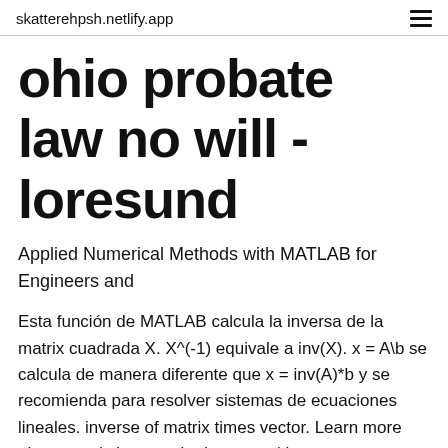skatterehpsh.netlify.app
ohio probate law no will - loresund
Applied Numerical Methods with MATLAB for Engineers and
Esta función de MATLAB calcula la inversa de la matrix cuadrada X. X^(-1) equivale a inv(X). x = A\b se calcula de manera diferente que x = inv(A)*b y se recomienda para resolver sistemas de ecuaciones lineales. inverse of matrix times vector. Learn more about matrix inverse, lu decomposition,